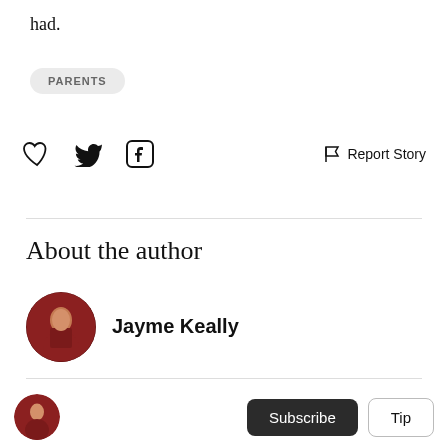had.
PARENTS
[Figure (infographic): Social action icons row: heart icon, Twitter bird icon, Facebook F icon on the left; flag icon with 'Report Story' text on the right]
About the author
[Figure (photo): Circular author avatar photo of Jayme Keally, a person in a dark red top]
Jayme Keally
Reader insights
[Figure (photo): Small circular avatar in bottom bar, same photo of Jayme Keally]
Subscribe
Tip